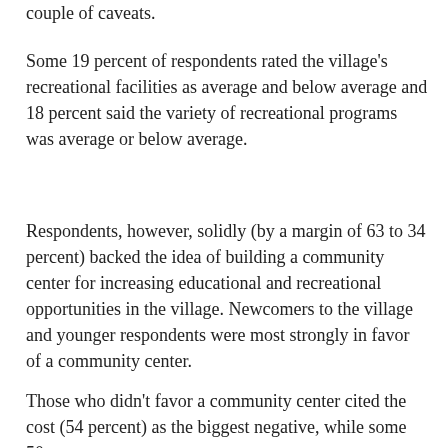couple of caveats.
Some 19 percent of respondents rated the village's recreational facilities as average and below average and 18 percent said the variety of recreational programs was average or below average.
Respondents, however, solidly (by a margin of 63 to 34 percent) backed the idea of building a community center for increasing educational and recreational opportunities in the village. Newcomers to the village and younger respondents were most strongly in favor of a community center.
Those who didn't favor a community center cited the cost (54 percent) as the biggest negative, while some 50